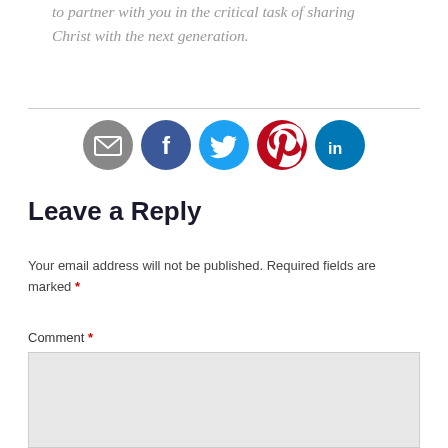to partner with you in the critical task of sharing Christ with the next generation.
[Figure (infographic): Social sharing icons: email (grey), Facebook (dark blue), Twitter (light blue), Pinterest (red), LinkedIn (teal/dark cyan)]
Leave a Reply
Your email address will not be published. Required fields are marked *
Comment *